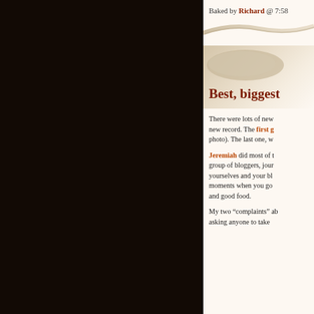Baked by Richard @ 7:58
[Figure (illustration): Decorative curved banner divider with tan/beige tones]
Best, biggest
There were lots of new record. The first g photo). The last one, w
Jeremiah did most of t group of bloggers, jour yourselves and your bl moments when you go and good food.
My two “complaints” ab asking anyone to take